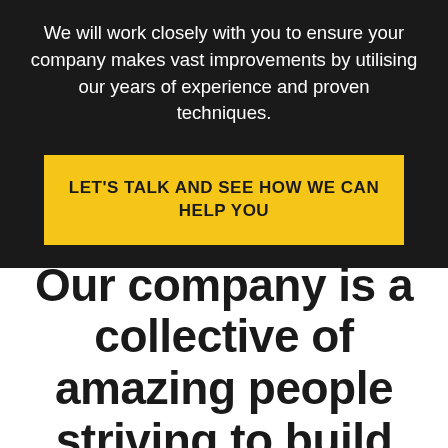We will work closely with you to ensure your company makes vast improvements by utilising our years of experience and proven techniques.
LET'S TALK AND SEE HOW WE CAN HELP YOU
Our company is a collective of amazing people striving to build